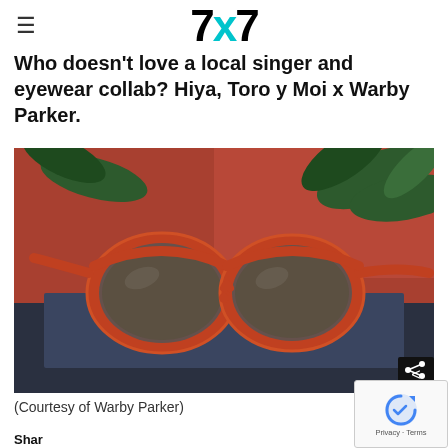7x7
Who doesn't love a local singer and eyewear collab? Hiya, Toro y Moi x Warby Parker.
[Figure (photo): Orange/coral-framed sunglasses (Toro y Moi x Warby Parker collaboration) resting on a dark surface with green plant leaves and reddish-brown background]
(Courtesy of Warby Parker)
Share